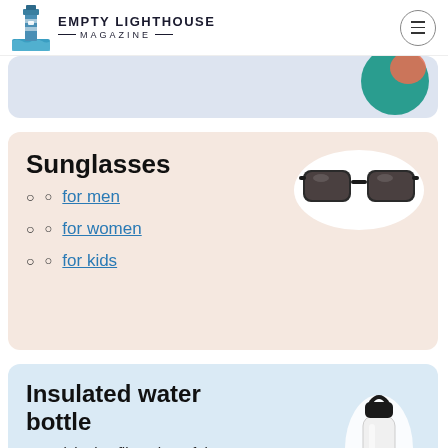EMPTY LIGHTHOUSE MAGAZINE
[Figure (illustration): Truncated card with lavender background and partial colorful circular image (teal/orange) on the right, partially visible at top of content area]
Sunglasses
[Figure (photo): Black sunglasses displayed on a white oval background]
for men
for women
for kids
Insulated water bottle
Our pick also filters harmful contaminants:
[Figure (photo): White insulated water bottle with black cap/handle, partially visible on the right side of the card]